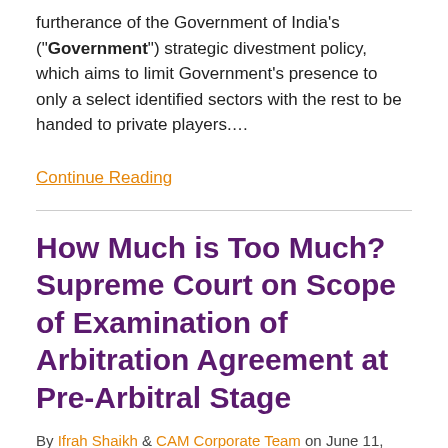furtherance of the Government of India's ("Government") strategic divestment policy, which aims to limit Government's presence to only a select identified sectors with the rest to be handed to private players.…
Continue Reading
How Much is Too Much? Supreme Court on Scope of Examination of Arbitration Agreement at Pre-Arbitral Stage
By Ifrah Shaikh & CAM Corporate Team on June 11, 2021